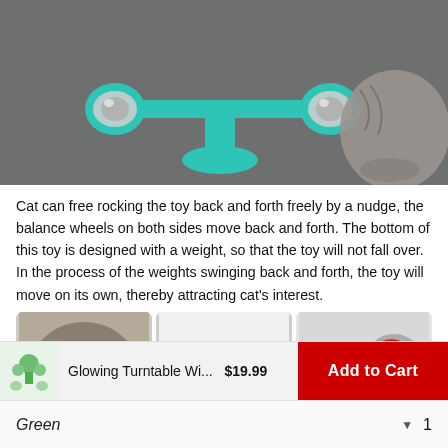[Figure (photo): Photo of a teal/turquoise spinning windmill cat toy with reflective balls on each end of the arm, mounted on a suction cup base, with a gray tabby cat in the background]
Cat can free rocking the toy back and forth freely by a nudge, the balance wheels on both sides move back and forth. The bottom of this toy is designed with a weight, so that the toy will not fall over. In the process of the weights swinging back and forth, the toy will move on its own, thereby attracting cat's interest.
[Figure (photo): Three thumbnail images: a tabby cat's face, a spinning yellow ball on a rod, and a close-up of the turntable mechanism with teal and orange coloring]
[Figure (photo): Small product icon showing green glowing turntable windmill cat toy]
Glowing Turntable Wi...  $19.99
Add to Cart
Green